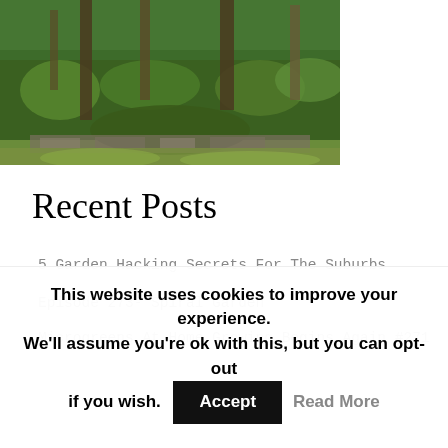[Figure (photo): Outdoor garden scene with trees, lush green plants, ferns, and a stone or wood border along a grassy lawn area.]
Recent Posts
5 Garden Hacking Secrets For The Suburbs
Episode 273- Spiral Garden
Microgreens At Home Growing Begins Again #271
This website uses cookies to improve your experience. We'll assume you're ok with this, but you can opt-out if you wish. Accept Read More